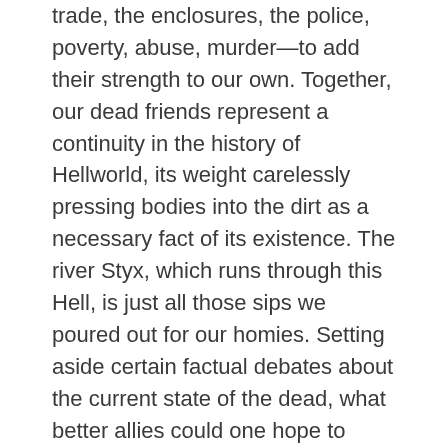trade, the enclosures, the police, poverty, abuse, murder—to add their strength to our own. Together, our dead friends represent a continuity in the history of Hellworld, its weight carelessly pressing bodies into the dirt as a necessary fact of its existence. The river Styx, which runs through this Hell, is just all those sips we poured out for our homies. Setting aside certain factual debates about the current state of the dead, what better allies could one hope to muster against the world?
It's not at all surprising when you think about it that communists and anarchists might have a close relationship with the dead.